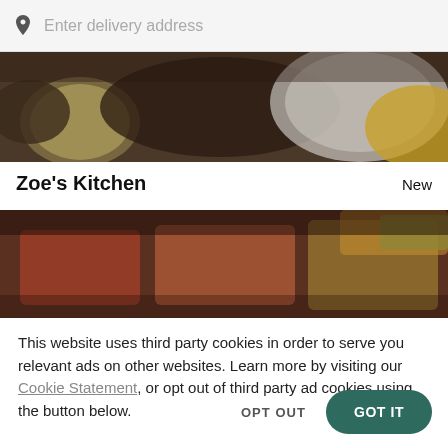Enter delivery address
[Figure (photo): Top banner image showing bowls of food including salads and dishes on a dark background]
Zoe's Kitchen
New
[Figure (photo): Second banner image showing trays of food with various dishes on a dark background]
This website uses third party cookies in order to serve you relevant ads on other websites. Learn more by visiting our Cookie Statement, or opt out of third party ad cookies using the button below.
OPT OUT
GOT IT